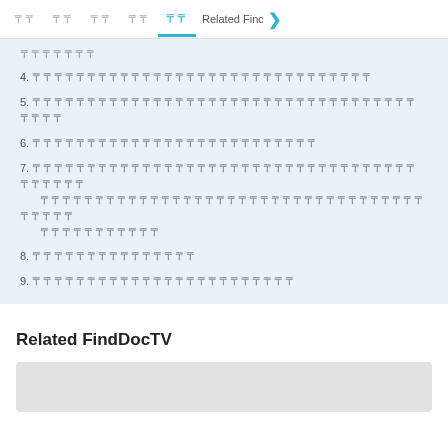[tab bar with CJK tabs and Related Finc text]
[continuation text - garbled CJK]
4. [garbled CJK text]
5. [garbled CJK text]
6. [garbled CJK text]
7. [garbled CJK text - multiline]
8. [garbled CJK text]
9. [garbled CJK text]
Related FindDocTV